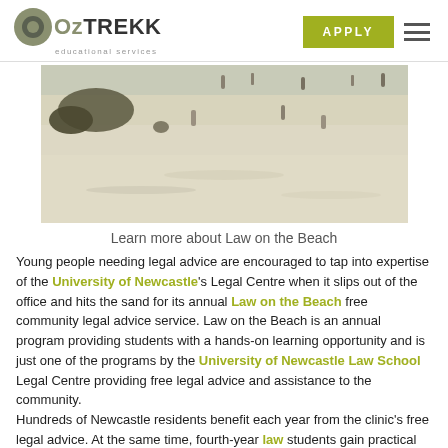OzTREKK educational services | APPLY
[Figure (photo): Beach scene with people on sand, aerial/ground-level view of a crowded beach with sandy foreground]
Learn more about Law on the Beach
Young people needing legal advice are encouraged to tap into expertise of the University of Newcastle's Legal Centre when it slips out of the office and hits the sand for its annual Law on the Beach free community legal advice service. Law on the Beach is an annual program providing students with a hands-on learning opportunity and is just one of the programs by the University of Newcastle Law School Legal Centre providing free legal advice and assistance to the community.
Hundreds of Newcastle residents benefit each year from the clinic's free legal advice. At the same time, fourth-year law students gain practical experience toward their degree. All questions and cases are